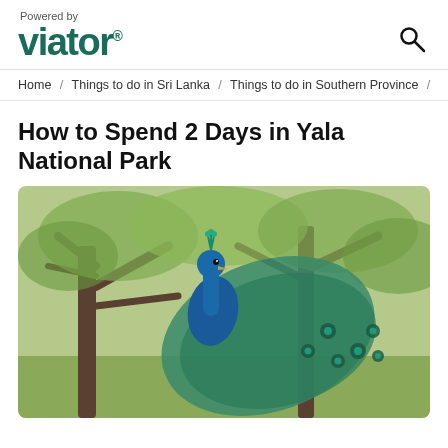Powered by viator.
Home / Things to do in Sri Lanka / Things to do in Southern Province /
How to Spend 2 Days in Yala National Park
[Figure (photo): A peacock with its tail feathers spread, perched in a tree with green foliage in the background, photographed at Yala National Park.]